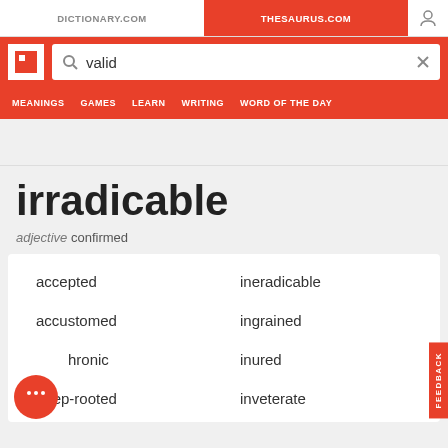DICTIONARY.COM | THESAURUS.COM
[Figure (screenshot): Thesaurus.com website header with logo, search bar containing 'valid', and navigation menu with MEANINGS, GAMES, LEARN, WRITING, WORD OF THE DAY]
irradicable
adjective confirmed
accepted
ineradicable
accustomed
ingrained
chronic
inured
deep-rooted
inveterate